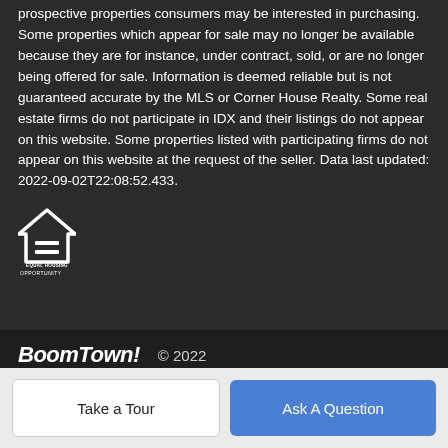prospective properties consumers may be interested in purchasing. Some properties which appear for sale may no longer be available because they are for instance, under contract, sold, or are no longer being offered for sale. Information is deemed reliable but is not guaranteed accurate by the MLS or Corner House Realty. Some real estate firms do not participate in IDX and their listings do not appear on this website. Some properties listed with participating firms do not appear on this website at the request of the seller. Data last updated: 2022-09-02T22:08:52.433.
[Figure (logo): Equal Housing Opportunity logo - house icon with equals sign and text 'EQUAL HOUSING OPPORTUNITY']
BoomTown! © 2022
Terms of Use | Privacy Policy | Accessibility | DMCA | Listings Sitemap
Take a Tour
Ask A Question